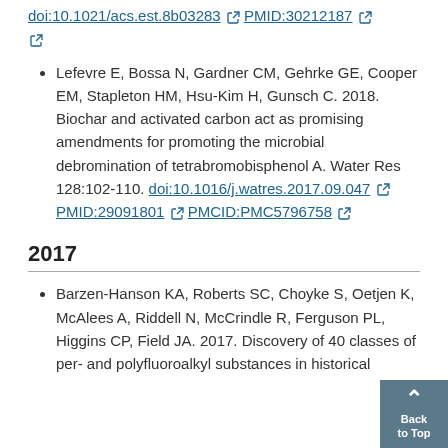doi:10.1021/acs.est.8b03283 [external link] PMID:30212187 [external link]
Lefevre E, Bossa N, Gardner CM, Gehrke GE, Cooper EM, Stapleton HM, Hsu-Kim H, Gunsch C. 2018. Biochar and activated carbon act as promising amendments for promoting the microbial debromination of tetrabromobisphenol A. Water Res 128:102-110. doi:10.1016/j.watres.2017.09.047 PMID:29091801 PMCID:PMC5796758
2017
Barzen-Hanson KA, Roberts SC, Choyke S, Oetjen K, McAlees A, Riddell N, McCrindle R, Ferguson PL, Higgins CP, Field JA. 2017. Discovery of 40 classes of per- and polyfluoroalkyl substances in historical